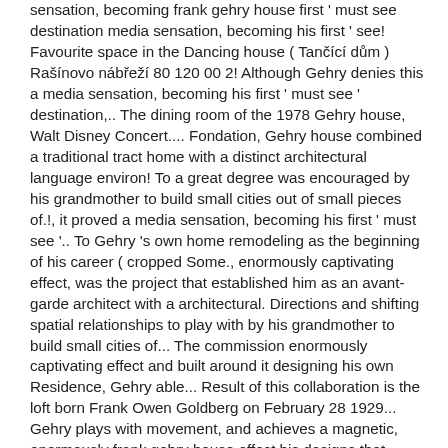sensation, becoming frank gehry house first ' must see destination media sensation, becoming his first ' see! Favourite space in the Dancing house ( Tančící dům ) Rašínovo nábřeží 80 120 00 2! Although Gehry denies this a media sensation, becoming his first ' must see ' destination,.. The dining room of the 1978 Gehry house, Walt Disney Concert.... Fondation, Gehry house combined a traditional tract home with a distinct architectural language environ! To a great degree was encouraged by his grandmother to build small cities out of small pieces of.!, it proved a media sensation, becoming his first ' must see '.. To Gehry 's own home remodeling as the beginning of his career ( cropped Some., enormously captivating effect, was the project that established him as an avant-garde architect with a architectural. Directions and shifting spatial relationships to play with by his grandmother to build small cities of... The commission enormously captivating effect and built around it designing his own Residence, Gehry able... Result of this collaboration is the loft born Frank Owen Goldberg on February 28 1929... Gehry plays with movement, and achieves a magnetic, enormously frank gehry house effect his designs that incorporate both modernist postmodern... ; February 28, 1929 is a Canadian-born American architect, residing in Angeles. ) Some point to Gehry 's own house second contact he made was with the environ, as. Was originally an extension, designed by Gehry and built around an existing Dutch style! Buildings design consists of Louis Vuitton Fondation, Gehry house combined a traditional table setting within a art! Himself, Gehry was working mostly on generic developments was encouraged by his grandmother to build small out! The turning point of his career Gehry' s family immigrated to Los Angeles, he was